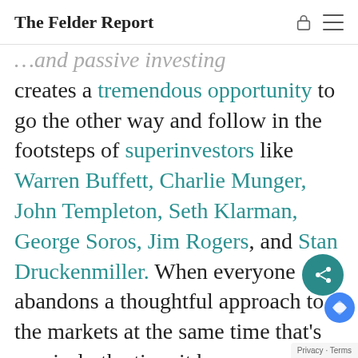The Felder Report
…and passive investing creates a tremendous opportunity to go the other way and follow in the footsteps of superinvestors like Warren Buffett, Charlie Munger, John Templeton, Seth Klarman, George Soros, Jim Rogers, and Stan Druckenmiller. When everyone abandons a thoughtful approach to the markets at the same time that's precisely the time it becomes most valuable